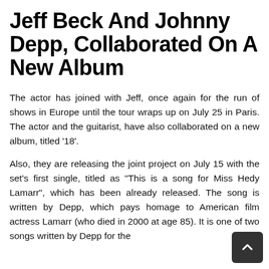Jeff Beck And Johnny Depp, Collaborated On A New Album
The actor has joined with Jeff, once again for the run of shows in Europe until the tour wraps up on July 25 in Paris. The actor and the guitarist, have also collaborated on a new album, titled '18'.
Also, they are releasing the joint project on July 15 with the set's first single, titled as "This is a song for Miss Hedy Lamarr", which has been already released. The song is written by Depp, which pays homage to American film actress Lamarr (who died in 2000 at age 85). It is one of two songs written by Depp for the